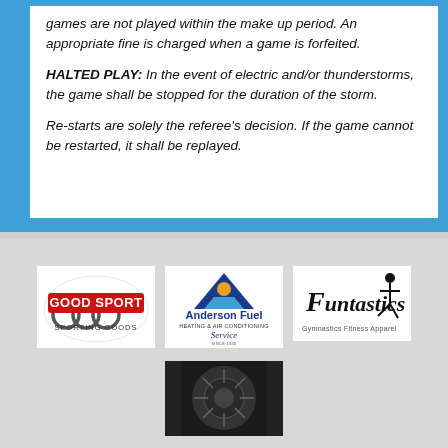games are not played within the make up period. An appropriate fine is charged when a game is forfeited.
HALTED PLAY: In the event of electric and/or thunderstorms, the game shall be stopped for the duration of the storm.
Re-starts are solely the referee's decision. If the game cannot be restarted, it shall be replayed.
[Figure (logo): Good Sport Sporting Goods logo with Olympic-style rings]
[Figure (logo): Anderson Fuel Heating & Air Conditioning Service logo with triangle and wave graphic]
[Figure (logo): Funtastics gymnastic/fitness logo with figure]
[Figure (photo): Circular dark photograph, possibly a sports or mechanical image]